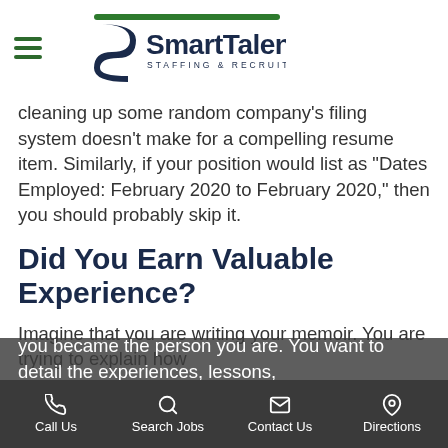SmartTalent Staffing & Recruiting
cleaning up some random company's filing system doesn't make for a compelling resume item. Similarly, if your position would list as “Dates Employed: February 2020 to February 2020,” then you should probably skip it.
Did You Earn Valuable Experience?
Imagine that you are writing your memoir. You are trying to explain how you became the person you are. You want to detail the experiences, lessons,
Call Us | Search Jobs | Contact Us | Directions